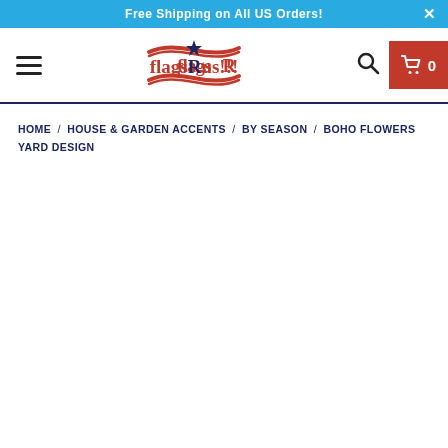Free Shipping on All US Orders!
[Figure (logo): FlagsRus!!! logo with red and blue banner decorations and a star]
HOME / HOUSE & GARDEN ACCENTS / BY SEASON / BOHO FLOWERS YARD DESIGN